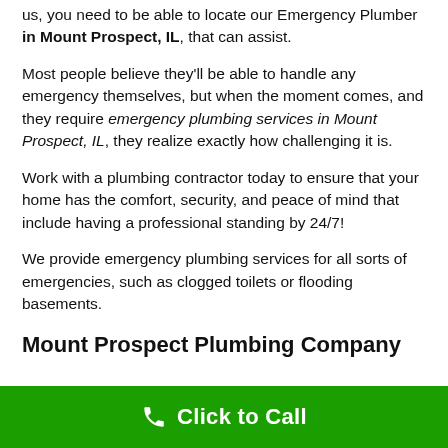us, you need to be able to locate our Emergency Plumber in Mount Prospect, IL, that can assist.
Most people believe they'll be able to handle any emergency themselves, but when the moment comes, and they require emergency plumbing services in Mount Prospect, IL, they realize exactly how challenging it is.
Work with a plumbing contractor today to ensure that your home has the comfort, security, and peace of mind that include having a professional standing by 24/7!
We provide emergency plumbing services for all sorts of emergencies, such as clogged toilets or flooding basements.
Mount Prospect Plumbing Company
Click to Call